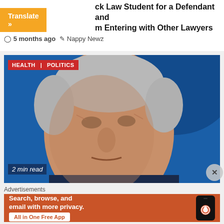ck Law Student for a Defendant and m Entering with Other Lawyers
5 months ago   Nappy Newz
[Figure (photo): Close-up photo of Joe Biden with blue background, with HEALTH and POLITICS category tags and '2 min read' label overlay]
Advertisements
[Figure (other): DuckDuckGo advertisement: 'Search, browse, and email with more privacy. All in One Free App' with DuckDuckGo logo and phone graphic on orange background]